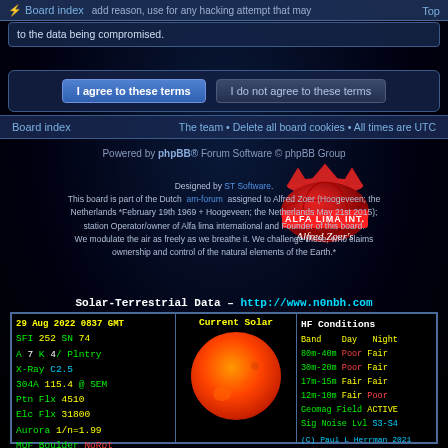Board index  Top
to the data being compromised.
I agree to these terms   I do not agree to these terms
Board index   The team • Delete all board cookies • All times are UTC
Powered by phpBB® Forum Software © phpBB Group
[Figure (logo): ALFA LIMA INT. Alfred Zoer's logo - red globe with crown]
Designed by ST Software. This board is part of the Dutch am-forum assigned to Alfred Zoer (Hoogeveen; the Netherlands *February 19th 1969 + Hoogeveen; the Netherlands May 21st 2015); station Operator/owner of Alfa lima international and Founder of this board. We modulate the air as freely as we breathe it. We challenge those, who claims ownership and control of the natural elements of the Earth.*
Solar-Terrestrial Data - http://www.n0nbh.com
| Field | Value |
| --- | --- |
| 29 Aug 2022 0837 GMT | Current Solar | HF Conditions |
| SFI 252  SN  74 |  | Band   Day   Night |
| A 7  K 4/ Plntry |  | 80m-40m  Poor  Fair |
| X-Ray C2.5 |  | 30m-20m  Poor  Fair |
| 304A  115.4 @ SEM |  | 17m-15m  Fair  Fair |
| Ptn Flx  4510 |  | 12m-10m  Fair  Poor |
| Elc Flx  31800 |  | Geomag Field ACTIVE |
| Aurora  1/n=1.99 |  | Sig Noise Lvl  S3-S4 |
| MUF Boulder  NoRpt |  | (C) Paul L Herrman 2021 |